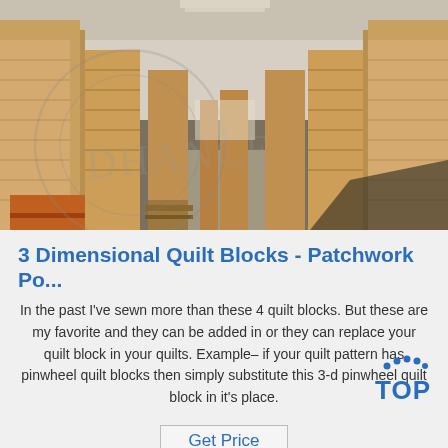[Figure (photo): Warehouse interior with tall stacks of cardboard sheets/pallets on both sides of a long aisle, perspective view receding into the distance. Has a watermark overlay.]
3 Dimensional Quilt Blocks - Patchwork Po...
In the past I've sewn more than these 4 quilt blocks. But these are my favorite and they can be added in or they can replace your quilt block in your quilts. Example– if your quilt pattern has pinwheel quilt blocks then simply substitute this 3-d pinwheel quilt block in it's place.
[Figure (logo): Blue 'TOP' badge logo with dots above]
Get Price